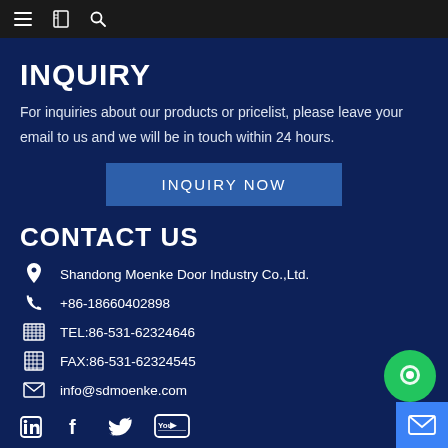Navigation bar with menu, bookmark, and search icons
INQUIRY
For inquiries about our products or pricelist, please leave your email to us and we will be in touch within 24 hours.
INQUIRY NOW
CONTACT US
Shandong Moenke Door Industry Co.,Ltd.
+86-18660402898
TEL:86-531-62324646
FAX:86-531-62324545
info@sdmoenke.com
[Figure (other): Social media icons: LinkedIn, Facebook, Twitter, YouTube]